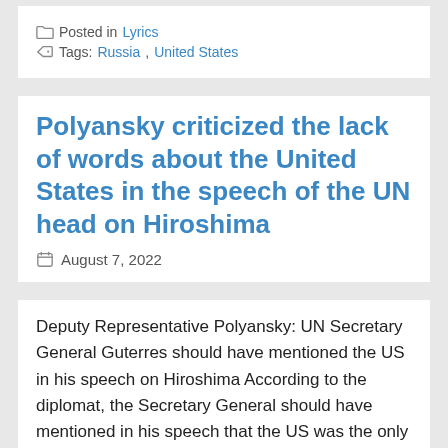Posted in Lyrics
Tags: Russia, United States
Polyansky criticized the lack of words about the United States in the speech of the UN head on Hiroshima
August 7, 2022
Deputy Representative Polyansky: UN Secretary General Guterres should have mentioned the US in his speech on Hiroshima According to the diplomat, the Secretary General should have mentioned in his speech that the US was the only one in the world to use nuclear weapons. Discussions about the atomic bombing of Hiroshima resumed on the occasion … Continue reading